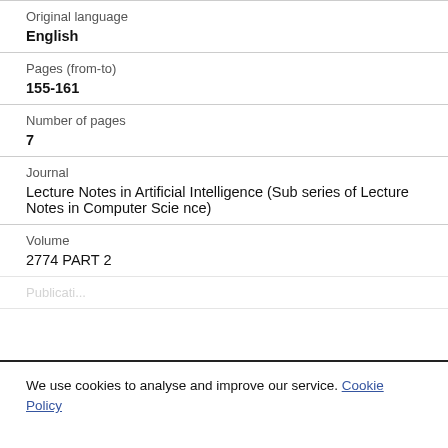Original language
English
Pages (from-to)
155-161
Number of pages
7
Journal
Lecture Notes in Artificial Intelligence (Subseries of Lecture Notes in Computer Science)
Volume
2774 PART 2
We use cookies to analyse and improve our service. Cookie Policy